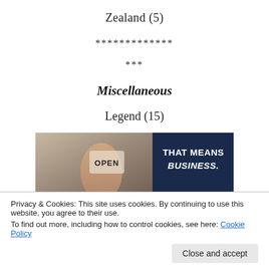Zealand (5)
*************
***
Miscellaneous
Legend (15)
[Figure (photo): A person holding an 'OPEN' sign on the left side, and a dark navy blue panel on the right with white bold text reading 'THAT MEANS BUSINESS.']
Privacy & Cookies: This site uses cookies. By continuing to use this website, you agree to their use.
To find out more, including how to control cookies, see here: Cookie Policy